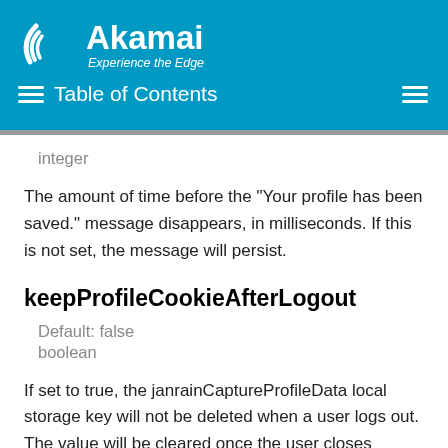[Figure (logo): Akamai logo with tagline 'Experience the Edge' on blue header background]
Table of Contents
integer
The amount of time before the "Your profile has been saved." message disappears, in milliseconds. If this is not set, the message will persist.
keepProfileCookieAfterLogout
Default: false
boolean
If set to true, the janrainCaptureProfileData local storage key will not be deleted when a user logs out. The value will be cleared once the user closes